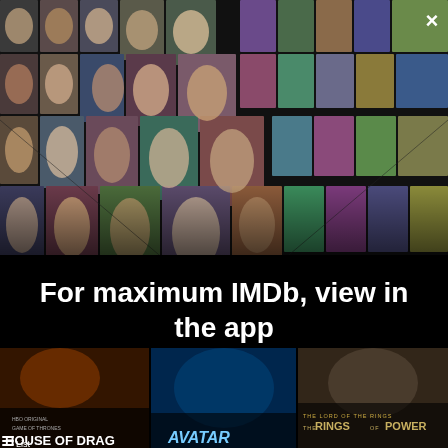[Figure (illustration): IMDb app promotional collage showing a grid of actor headshots and movie/TV posters arranged in perspective, with a close (×) button in the top right corner]
For maximum IMDb, view in the app
[Figure (illustration): Yellow rounded button labeled 'Get the app']
[Figure (illustration): Three movie/TV show poster thumbnails at the bottom: House of the Dragon (HBO), Avatar, and The Lord of the Rings: The Rings of Power, with a List icon visible]